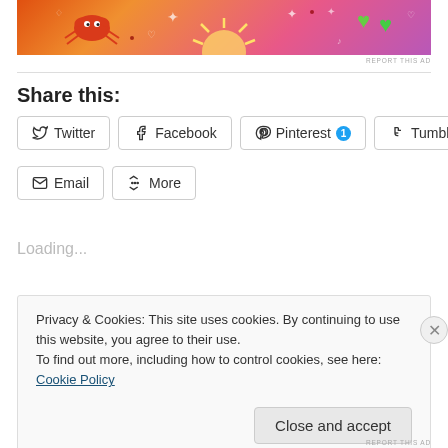[Figure (illustration): Colorful gradient ad banner with cartoon sun, crab, hearts, and decorative elements in orange, pink, and purple tones]
REPORT THIS AD
Share this:
Twitter Facebook Pinterest 1 Tumblr Email More
Loading...
Privacy & Cookies: This site uses cookies. By continuing to use this website, you agree to their use.
To find out more, including how to control cookies, see here: Cookie Policy
Close and accept